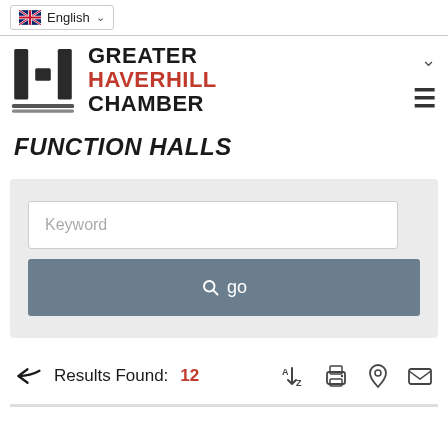English (language selector)
[Figure (logo): Greater Haverhill Chamber logo with H-shaped icon and text: GREATER HAVERHILL CHAMBER]
FUNCTION HALLS
[Figure (screenshot): Search form with Keyword text input and a 'go' button]
Results Found: 12